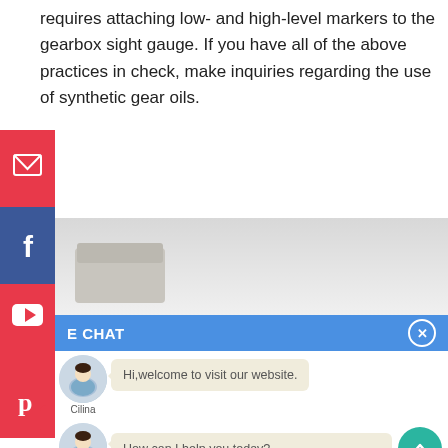requires attaching low- and high-level markers to the gearbox sight gauge. If you have all of the above practices in check, make inquiries regarding the use of synthetic gear oils.
[Figure (screenshot): Social media sidebar with email, Facebook, YouTube, Pinterest icons in red and blue]
[Figure (screenshot): Live chat widget showing two chat messages from 'Cilina' avatar: 'Hi,welcome to visit our website.' and 'How can I help you today?']